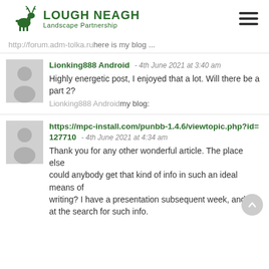[Figure (logo): Lough Neagh Landscape Partnership logo with green deer icon]
http://forum.adm-tolka.ru here is my blog ...
Lionking888 Android - 4th June 2021 at 3:40 am
Highly energetic post, I enjoyed that a lot. Will there be a part 2?
Lionking888 Android my blog:
https://mpc-install.com/punbb-1.4.6/viewtopic.php?id=127710 - 4th June 2021 at 4:34 am
Thank you for any other wonderful article. The place else could anybody get that kind of info in such an ideal means of writing? I have a presentation subsequent week, and I'm at the search for such info.